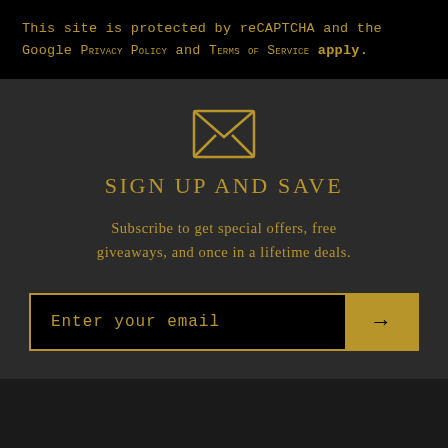This site is protected by reCAPTCHA and the Google PRIVACY POLICY and TERMS OF SERVICE apply.
[Figure (illustration): Envelope icon in gold outline style]
SIGN UP AND SAVE
Subscribe to get special offers, free giveaways, and once in a lifetime deals.
Enter your email